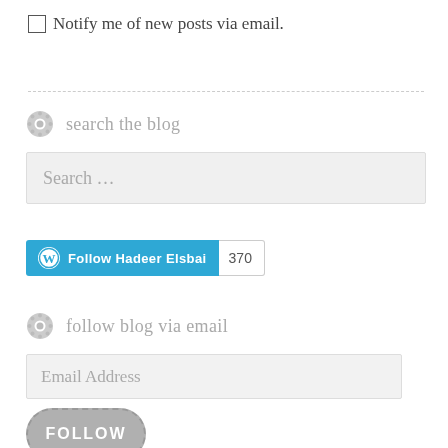Notify me of new posts via email.
search the blog
[Figure (other): Search input box with placeholder text 'Search ...']
[Figure (other): WordPress Follow button for 'Follow Hadeer Elsbai' with count 370]
follow blog via email
[Figure (other): Email input box with placeholder text 'Email Address']
[Figure (other): Grey rounded FOLLOW button]